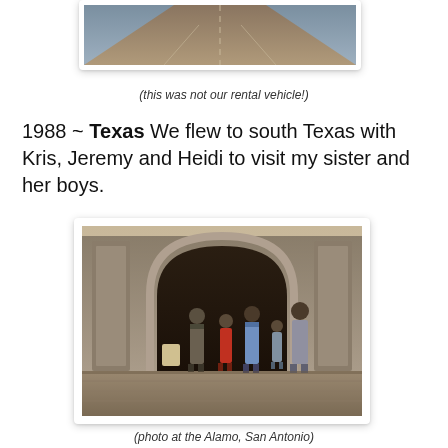[Figure (photo): Top partial photo showing a sandy/dirt road receding into the distance, cropped at top of page]
(this was not our rental vehicle!)
1988 ~ Texas We flew to south Texas with Kris, Jeremy and Heidi to visit my sister and her boys.
[Figure (photo): Group of people standing in front of the Alamo in San Antonio, Texas. Several children and adults posed in front of a stone archway entrance.]
(photo at the Alamo, San Antonio)
1999 ~ Alaska We drove to Alaska with our Swiss friends,